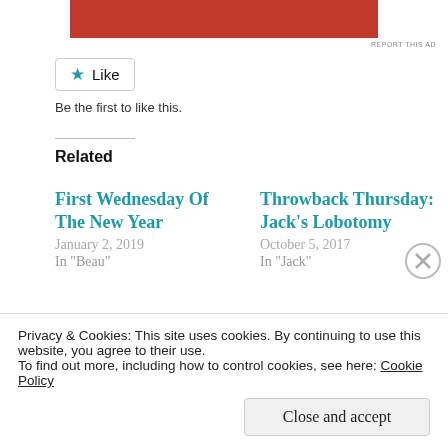[Figure (other): Red advertisement banner at top of page]
REPORT THIS AD
★ Like
Be the first to like this.
Related
First Wednesday Of The New Year
January 2, 2019
In "Beau"
Throwback Thursday: Jack's Lobotomy
October 5, 2017
In "Jack"
Meet The Crew: Me
December 21, 2017
In "Meet the Crew"
Privacy & Cookies: This site uses cookies. By continuing to use this website, you agree to their use.
To find out more, including how to control cookies, see here: Cookie Policy
Close and accept